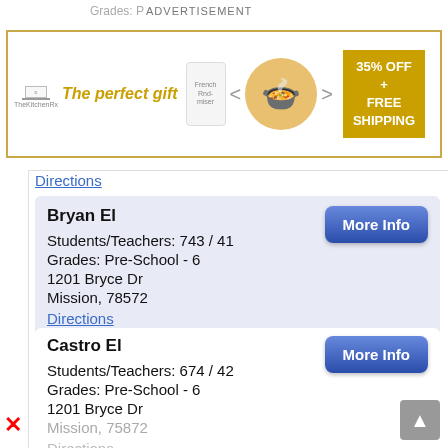Grades: Pre-School - 6
[Figure (other): Advertisement banner: The perfect gift - food bowl product with 35% OFF + FREE SHIPPING promotion]
Directions
Bryan El
Students/Teachers: 743 / 41
Grades: Pre-School - 6
1201 Bryce Dr
Mission, 78572
Directions
Castro El
Students/Teachers: 674 / 42
Grades: Pre-School - 6
1201 Bryce Dr
Mission, 75872
Directions